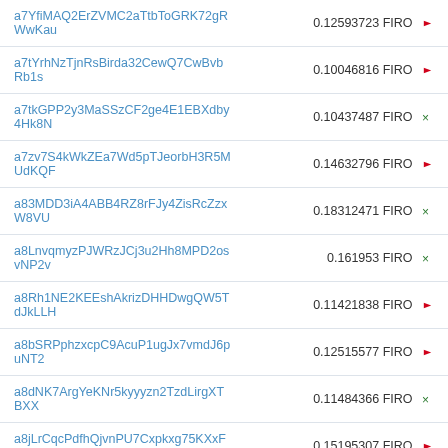| Address | Amount |
| --- | --- |
| a7YfiMAQ2ErZVMC2aTtbToGRK72gRWwKau | 0.12593723 FIRO → |
| a7tYrhNzTjnRsBirda32CewQ7CwBvbRb1s | 0.10046816 FIRO → |
| a7tkGPP2y3MaSSzCF2ge4E1EBXdby4Hk8N | 0.10437487 FIRO × |
| a7zv7S4kWkZEa7Wd5pTJeorbH3R5MUdKQF | 0.14632796 FIRO → |
| a83MDD3iA4ABB4RZ8rFJy4ZisRcZzxW8VU | 0.18312471 FIRO × |
| a8LnvqmyzPJWRzJCj3u2Hh8MPD2osvNP2v | 0.161953 FIRO × |
| a8Rh1NE2KEEshAkrizDHHDwgQW5TdJkLLH | 0.11421838 FIRO → |
| a8bSRPphzxcpC9AcuP1ugJx7vmdJ6puNT2 | 0.12515577 FIRO → |
| a8dNK7ArgYeKNr5kyyyzn2TzdLirgXTBXX | 0.11484366 FIRO × |
| a8jLrCqcPdfhQjvnPU7Cxpkxg75KXxF7k3 | 0.15195307 FIRO → |
| a9MzmnX9bfNanhpR3hpennyrL6uFuXwBZ4 | 0.24210932 FIRO → |
| a9T9rWnjiC15MExrDd9UfSV4ZBhjuZindk | 0.10085928 FIRO × |
| a9cWCys36aWxqY3zR1M55FbHRU94KmxjfH | 1.026327 FIRO → |
| a9o4oTUCAMdPJvaR2uXFnXMBMyXtgjdqzo | 0.23554681 FIRO → |
| aB6b8MRpodNvc3EJDeWRAHMbfR4qK1a7tG | 0.18398431 FIRO × |